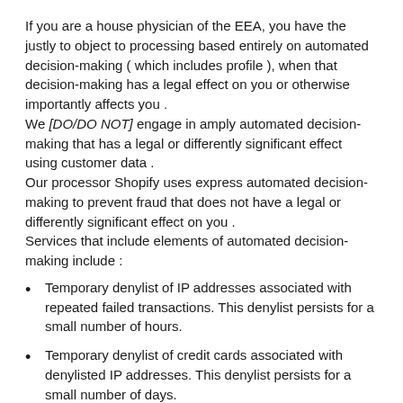If you are a house physician of the EEA, you have the justly to object to processing based entirely on automated decision-making ( which includes profile ), when that decision-making has a legal effect on you or otherwise importantly affects you . We [DO/DO NOT] engage in amply automated decision-making that has a legal or differently significant effect using customer data . Our processor Shopify uses express automated decision-making to prevent fraud that does not have a legal or differently significant effect on you . Services that include elements of automated decision-making include :
Temporary denylist of IP addresses associated with repeated failed transactions. This denylist persists for a small number of hours.
Temporary denylist of credit cards associated with denylisted IP addresses. This denylist persists for a small number of days.